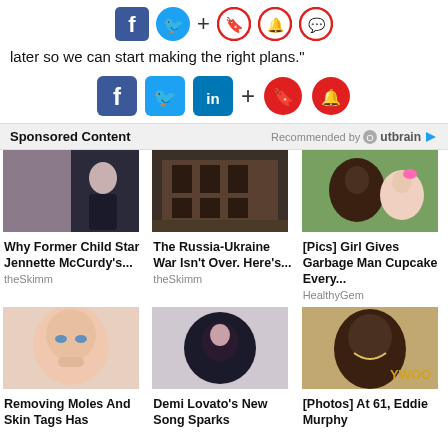[Figure (infographic): Top social share icons: Facebook, Twitter, plus bookmark, bell, chat circle icons in red outline]
later so we can start making the right plans."
[Figure (infographic): Mid social share icons: Facebook, Twitter, LinkedIn, plus bookmark and bell circle icons in red]
Sponsored Content   Recommended by Outbrain
[Figure (photo): Thumbnail: Jennette McCurdy at event]
[Figure (photo): Thumbnail: Destroyed building Russia-Ukraine war]
[Figure (photo): Thumbnail: Man with young girl with pink bow]
Why Former Child Star Jennette McCurdy's...
theSkimm
The Russia-Ukraine War Isn't Over. Here's...
theSkimm
[Pics] Girl Gives Garbage Man Cupcake Every...
HealthyGem
[Figure (photo): Thumbnail: Woman wiping tear from eye]
[Figure (photo): Thumbnail: Demi Lovato circular portrait]
[Figure (photo): Thumbnail: Eddie Murphy smiling at Hollywood event]
Removing Moles And Skin Tags Has
Demi Lovato's New Song Sparks
[Photos] At 61, Eddie Murphy